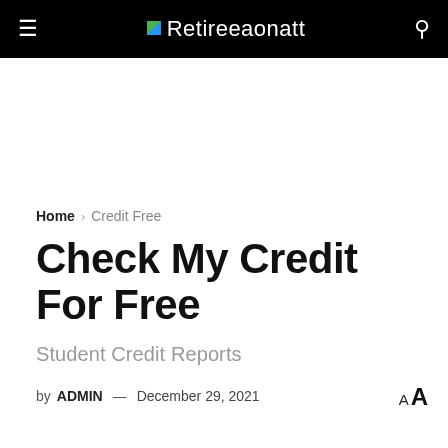Retireeaonatt
Home › Credit Free
Check My Credit For Free
Student Credit Reports
by ADMIN — December 29, 2021